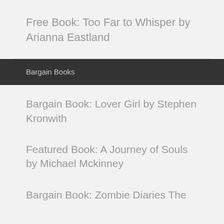Free Book: Too Far to Whisper by Arianna Eastland
Bargain Books
Bargain Book: Lover Girl by Stephen Kronwith
Featured Book: A Journey of Souls by Michael Mckinney
Bargain Book: Zombie Diaries The